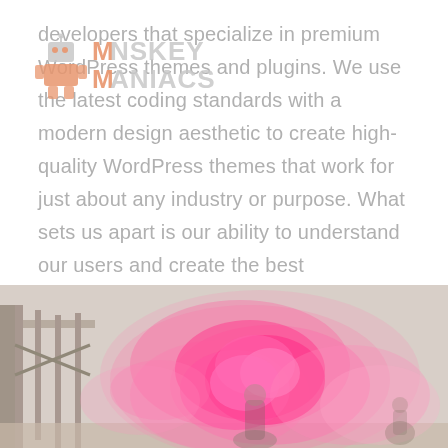[Figure (logo): Monskey Maniacs logo — robot/alien character icon with orange and gray text]
developers that specialize in premium WordPress themes and plugins. We use the latest coding standards with a modern design aesthetic to create high-quality WordPress themes that work for just about any industry or purpose. What sets us apart is our ability to understand our users and create the best WordPress themes suited for their needs. Our themes are made simple and functional right out of the box, yet offer high customization for more advanced users.
[Figure (photo): Photo of a person surrounded by vibrant pink smoke/flare in an industrial outdoor setting]